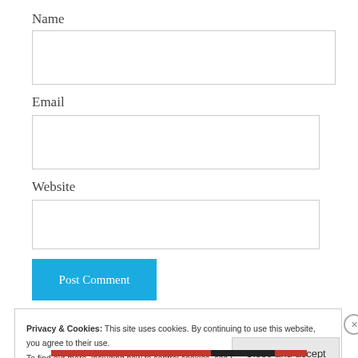Name
[Figure (other): Empty text input field for Name]
Email
[Figure (other): Empty text input field for Email]
Website
[Figure (other): Empty text input field for Website]
Post Comment
Privacy & Cookies: This site uses cookies. By continuing to use this website, you agree to their use.
To find out more, including how to control cookies, see here:
Cookie Policy
Close and accept